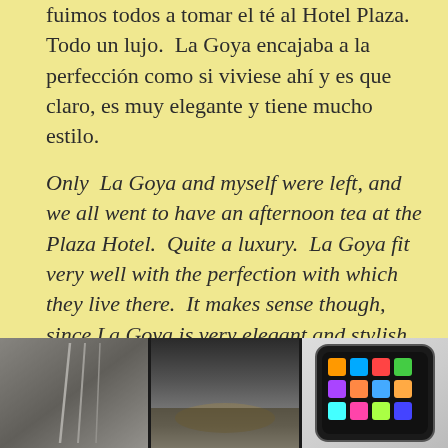fuimos todos a tomar el té al Hotel Plaza. Todo un lujo. La Goya encajaba a la perfección como si viviese ahí y es que claro, es muy elegante y tiene mucho estilo.
Only La Goya and myself were left, and we all went to have an afternoon tea at the Plaza Hotel. Quite a luxury. La Goya fit very well with the perfection with which they live there. It makes sense though, since La Goya is very elegant and stylish.
[Figure (photo): A strip of three photographs: left shows interior architecture with hanging elements, middle shows a crowded interior scene, right shows a smartwatch with app icons on its screen.]